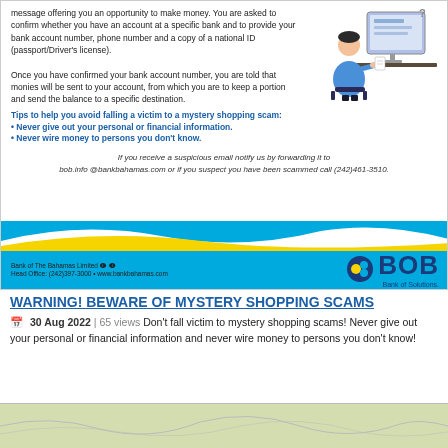[Figure (illustration): Bank of The Bahamas advertisement warning about mystery shopping scams. Shows a person at a computer, tips to avoid scams, contact info, and BOB logo.]
WARNING! BEWARE OF MYSTERY SHOPPING SCAMS
30 Aug 2022 | 65 views Don't fall victim to mystery shopping scams! Never give out your personal or financial information and never wire money to persons you don't know!
[Figure (map): Map shown at bottom of page (light green/beige color)]